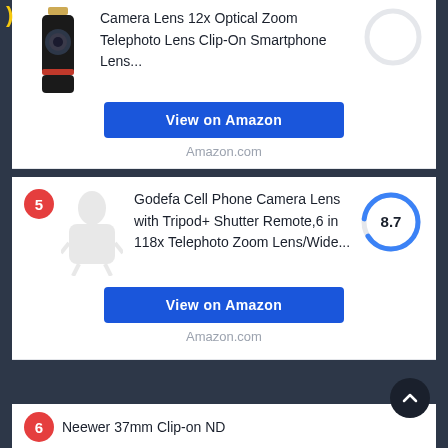Camera Lens 12x Optical Zoom Telephoto Lens Clip-On Smartphone Lens...
View on Amazon
Amazon.com
5
Godefa Cell Phone Camera Lens with Tripod+ Shutter Remote,6 in 118x Telephoto Zoom Lens/Wide...
[Figure (other): Score donut circle showing 8.7]
View on Amazon
Amazon.com
6
Neewer 37mm Clip-on ND